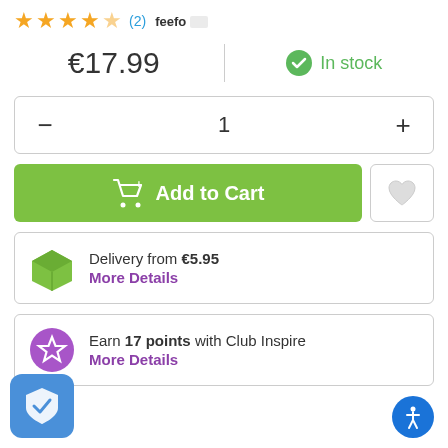[Figure (other): Feefo star rating: 4 gold stars with label (2) review count and feefo logo text]
€17.99   |   ✓ In stock
- 1 +
Add to Cart
Delivery from €5.95
More Details
Earn 17 points with Club Inspire
More Details